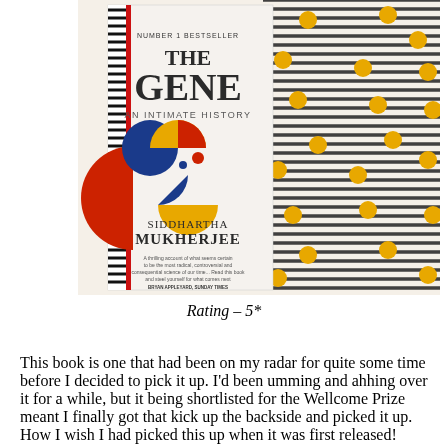[Figure (photo): Photo of the book 'The Gene: An Intimate History' by Siddhartha Mukherjee (Number 1 Bestseller), shown resting against a striped fabric background with yellow polka dots. The book cover features geometric shapes in red, blue, and yellow.]
Rating – 5*
This book is one that had been on my radar for quite some time before I decided to pick it up. I'd been umming and ahhing over it for a while, but it being shortlisted for the Wellcome Prize meant I finally got that kick up the backside and picked it up. How I wish I had picked this up when it was first released!